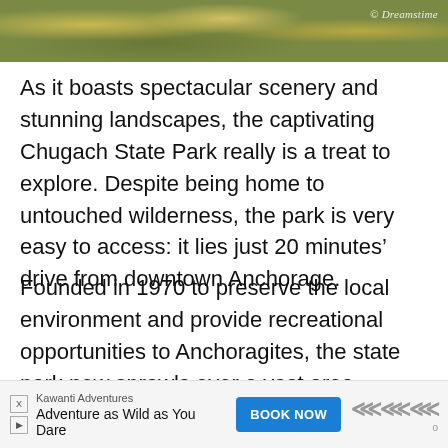[Figure (photo): Aerial or ground-level photo of wilderness landscape with shrubs, heather, and vegetation in autumn/fall colors — Chugach State Park. Watermark reads '© Dreamstime' in white italic text on the right side.]
As it boasts spectacular scenery and stunning landscapes, the captivating Chugach State Park really is a treat to explore. Despite being home to untouched wilderness, the park is very easy to access: it lies just 20 minutes’ drive from downtown Anchorage.
Founded in 1970 to preserve the local environment and provide recreational opportunities to Anchoragites, the state park now sprawls over a vast area. Encompassed within its confines are everything from vast valleys and verdant forests to roaring rivers an…
[Figure (other): Advertisement banner for Kawanti Adventures. Text: 'Kawanti Adventures / Adventure as Wild as You Dare' with a blue 'BOOK NOW' button and a logo on the right. Ad icons (X and arrow) on the left.]